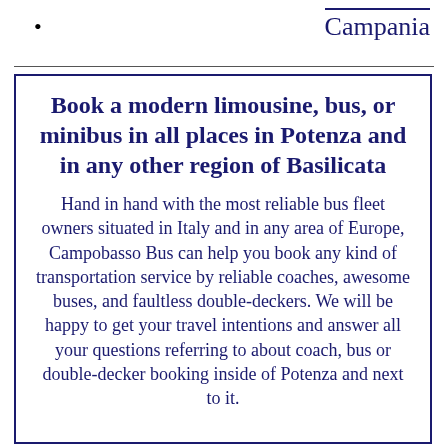• Campania
Book a modern limousine, bus, or minibus in all places in Potenza and in any other region of Basilicata
Hand in hand with the most reliable bus fleet owners situated in Italy and in any area of Europe, Campobasso Bus can help you book any kind of transportation service by reliable coaches, awesome buses, and faultless double-deckers. We will be happy to get your travel intentions and answer all your questions referring to about coach, bus or double-decker booking inside of Potenza and next to it.